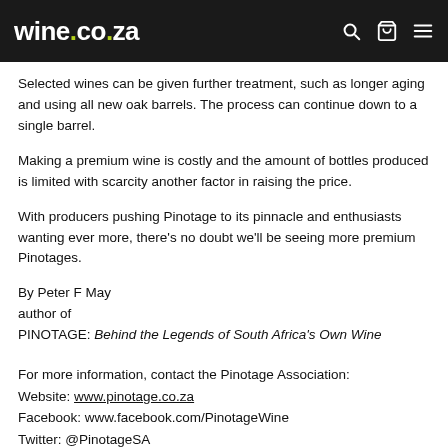wine.co.za
Selected wines can be given further treatment, such as longer aging and using all new oak barrels. The process can continue down to a single barrel.
Making a premium wine is costly and the amount of bottles produced is limited with scarcity another factor in raising the price.
With producers pushing Pinotage to its pinnacle and enthusiasts wanting ever more, there's no doubt we'll be seeing more premium Pinotages.
By Peter F May
author of
PINOTAGE: Behind the Legends of South Africa's Own Wine
For more information, contact the Pinotage Association:
Website: www.pinotage.co.za
Facebook: www.facebook.com/PinotageWine
Twitter: @PinotageSA